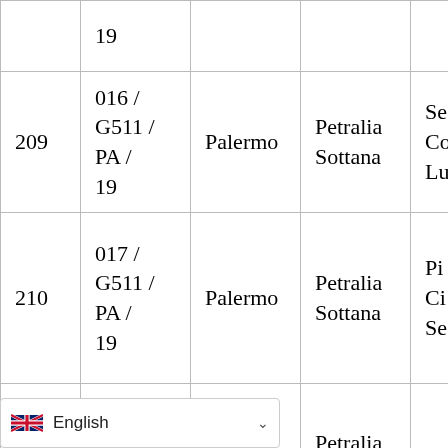|  |  | Palermo | Petralia Sottana |  |
| --- | --- | --- | --- | --- |
|  | 19 |  |  |  |
| 209 | 016 / G511 / PA / 19 | Palermo | Petralia Sottana | Se Co Lu |
| 210 | 017 / G511 / PA / 19 | Palermo | Petralia Sottana | Pi Ci Se |
| 211 | 018 / G511 / PA / 19 | Palermo | Petralia Sottana | Pi |